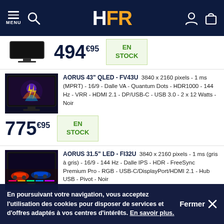HFR
494€95 EN STOCK
AORUS 43" QLED - FV43U 3840 x 2160 pixels - 1 ms (MPRT) - 16/9 - Dalle VA - Quantum Dots - HDR1000 - 144 Hz - VRR - HDMI 2.1 - DP/USB-C - USB 3.0 - 2 x 12 Watts - Noir
775€95 EN STOCK
AORUS 31.5" LED - FI32U 3840 x 2160 pixels - 1 ms (gris à gris) - 16/9 - 144 Hz - Dalle IPS - HDR - FreeSync Premium Pro - RGB - USB-C/DisplayPort/HDMI 2.1 - Hub USB - Pivot - Noir
En poursuivant votre navigation, vous acceptez l'utilisation des cookies pour disposer de services et d'offres adaptés à vos centres d'intérêts. En savoir plus.